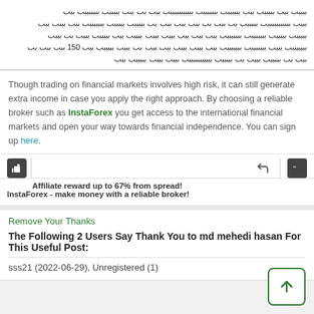Arabic text block with number 150
Though trading on financial markets involves high risk, it can still generate extra income in case you apply the right approach. By choosing a reliable broker such as InstaForex you get access to the international financial markets and open your way towards financial independence. You can sign up here.
[Figure (infographic): Action bar with thumbs up icon, reply icon, and quote icon]
Affiliate reward up to 67% from spread! InstaForex - make money with a reliable broker!
Remove Your Thanks
The Following 2 Users Say Thank You to md mehedi hasan For This Useful Post:
sss21 (2022-06-29), Unregistered (1)